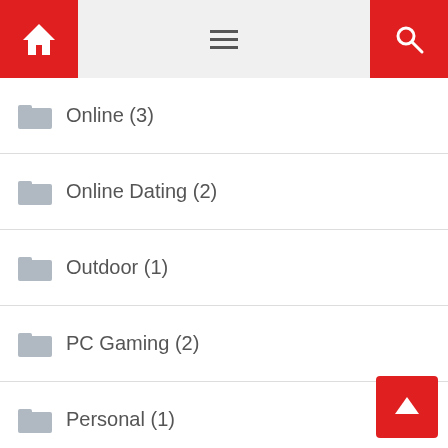Navigation header with home icon, menu icon, search icon
Online (3)
Online Dating (2)
Outdoor (1)
PC Gaming (2)
Personal (1)
Personal Finance (1)
Pets (4)
Photography (1)
Plastic surgery (1)
Printers (1)